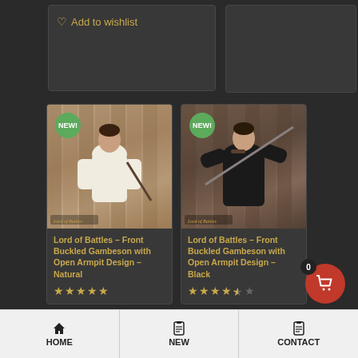♡ Add to wishlist
[Figure (photo): Man wearing white natural front-buckled gambeson with sword, Lord of Battles product photo with NEW badge]
Lord of Battles – Front Buckled Gambeson with Open Armpit Design – Natural
★★★★★ (5 stars)
[Figure (photo): Man wearing black front-buckled gambeson holding sword over shoulder, Lord of Battles product photo with NEW badge]
Lord of Battles – Front Buckled Gambeson with Open Armpit Design – Black
★★★★½ (4.5 stars)
HOME  NEW  CONTACT